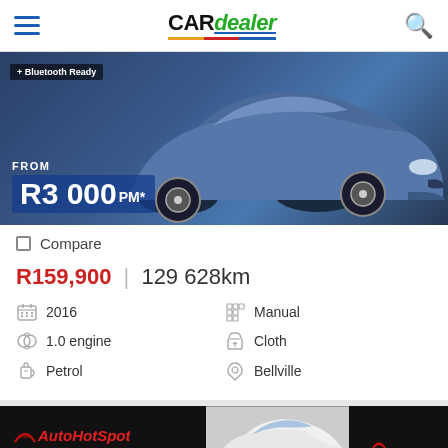CAR dealer
[Figure (photo): Blue/grey Opel Corsa car with 'Bluetooth Ready' badge and price overlay 'FROM R3 000 PM*']
Compare
R159,900 | 129 628km
2016
Manual
1.0 engine
Cloth
Petrol
Bellville
[Figure (photo): AutoHotSpot advertisement banner showing a white BMW X3 2014 with AutoHotSpot logo on black background]